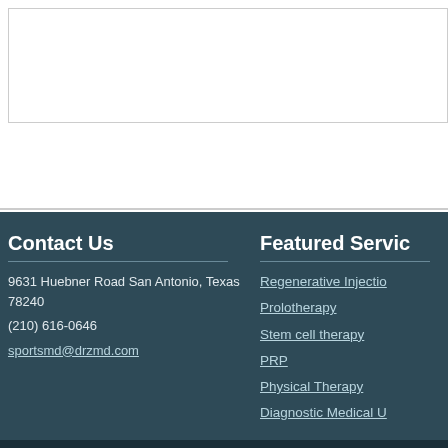[text input area]
Post Comment
Contact Us
9631 Huebner Road San Antonio, Texas 78240
(210) 616-0646
sportsmd@drzmd.com
Featured Services
Regenerative Injection
Prolotherapy
Stem cell therapy
PRP
Physical Therapy
Diagnostic Medical U